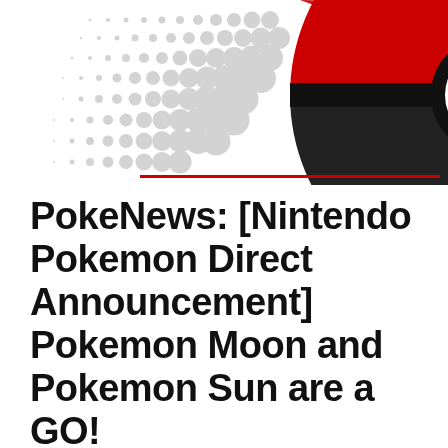[Figure (illustration): Pokeball graphic — partially visible red and black Pokeball on the right side with a halftone dot pattern on the left, white background.]
PokeNews: [Nintendo Pokemon Direct Announcement] Pokemon Moon and Pokemon Sun are a GO!
PUBLISHED ON February 26, 2016
13 Comments